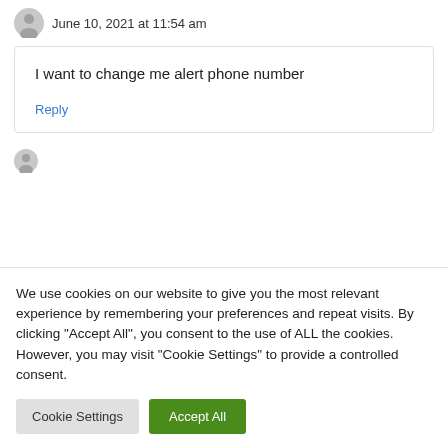June 10, 2021 at 11:54 am
I want to change me alert phone number
Reply
We use cookies on our website to give you the most relevant experience by remembering your preferences and repeat visits. By clicking "Accept All", you consent to the use of ALL the cookies. However, you may visit "Cookie Settings" to provide a controlled consent.